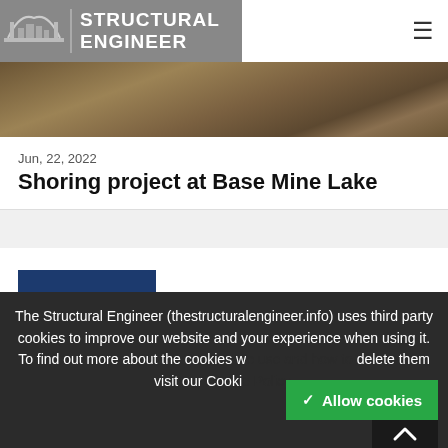STRUCTURAL ENGINEER
[Figure (photo): Aerial or ground-level photograph of earth/rock terrain, brownish tones, related to Base Mine Lake shoring project]
Jun, 22, 2022
Shoring project at Base Mine Lake
[Figure (logo): Keller company logo — dark navy blue rectangle with white diamond/arrow icon and white KELLER text]
The Structural Engineer (thestructuralengineer.info) uses third party cookies to improve our website and your experience when using it. To find out more about the cookies we use and how to delete them visit our Cookie Policy.